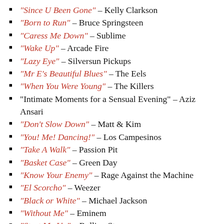“Since U Been Gone” – Kelly Clarkson
“Born to Run” – Bruce Springsteen
“Caress Me Down” – Sublime
“Wake Up” – Arcade Fire
“Lazy Eye” – Silversun Pickups
“Mr E’s Beautiful Blues” – The Eels
“When You Were Young” – The Killers
“Intimate Moments for a Sensual Evening” – Aziz Ansari
“Don’t Slow Down” – Matt & Kim
“You! Me! Dancing!” – Los Campesinos
“Take A Walk” – Passion Pit
“Basket Case” – Green Day
“Know Your Enemy” – Rage Against the Machine
“El Scorcho” – Weezer
“Black or White” – Michael Jackson
“Without Me” – Eminem
“Start Me Up” – Rolling Stones
“On the Road Again” – Canned Heat